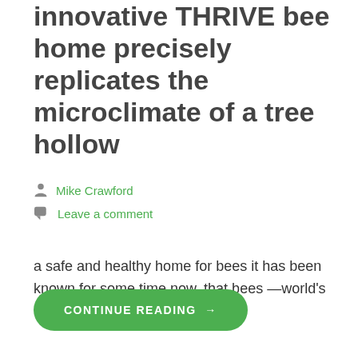innovative THRIVE bee home precisely replicates the microclimate of a tree hollow
Mike Crawford
Leave a comment
a safe and healthy home for bees it has been known for some time now, that bees —world's most important…
CONTINUE READING →